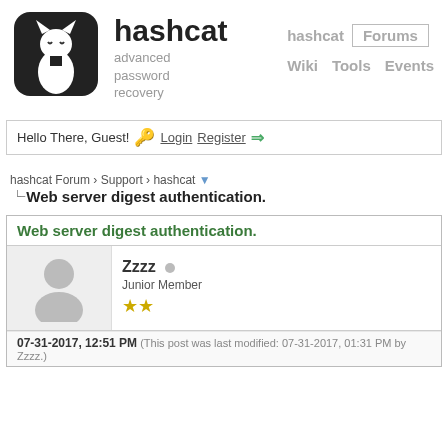[Figure (logo): Hashcat logo: black rounded square with white cat-like figure]
hashcat
advanced password recovery
hashcat  Forums  Wiki  Tools  Events
Hello There, Guest!  Login  Register →
hashcat Forum › Support › hashcat ▼
Web server digest authentication.
Web server digest authentication.
Zzzz  Junior Member ★★
07-31-2017, 12:51 PM (This post was last modified: 07-31-2017, 01:31 PM by Zzzz.)